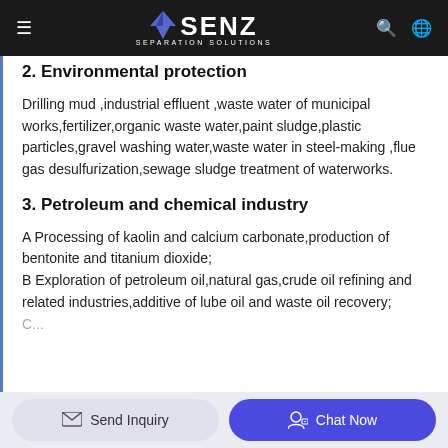SENZ SEPARATION SOLUTIONS
2. Environmental protection
Drilling mud ,industrial effluent ,waste water of municipal works,fertilizer,organic waste water,paint sludge,plastic particles,gravel washing water,waste water in steel-making ,flue gas desulfurization,sewage sludge treatment of waterworks.
3. Petroleum and chemical industry
A Processing of kaolin and calcium carbonate,production of bentonite and titanium dioxide;
B Exploration of petroleum oil,natural gas,crude oil refining and related industries,additive of lube oil and waste oil recovery;